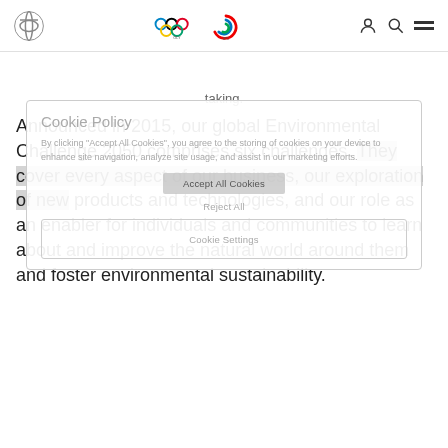Toyota navigation bar with logo, Olympic logos, user icon, search icon, hamburger menu
taking.
Cookie Policy
By clicking "Accept All Cookies", you agree to the storing of cookies on your device to enhance site navigation, analyze site usage, and assist in our marketing efforts.
Announced in 2015, our global Environmental Challenge 2050 comprises six challenges. They cover every aspect of our business, our exploration of new products and technologies, and our role as an enabler for individuals and communities to learn about and improve the natural world around them and foster environmental sustainability.